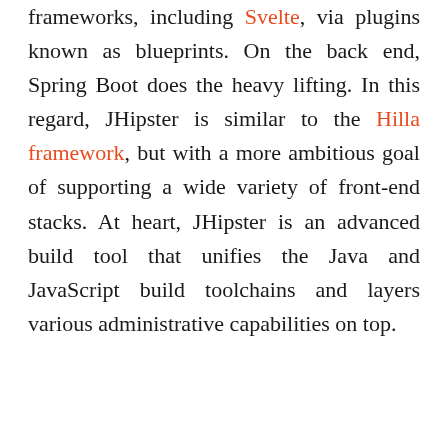frameworks, including Svelte, via plugins known as blueprints. On the back end, Spring Boot does the heavy lifting. In this regard, JHipster is similar to the Hilla framework, but with a more ambitious goal of supporting a wide variety of front-end stacks. At heart, JHipster is an advanced build tool that unifies the Java and JavaScript build toolchains and layers various administrative capabilities on top.
Content Continues Below
[Figure (infographic): Advertisement banner for CIO's Future of Work Summit North America on a black background with colorful dot pattern on the right. Green text reads 'LEADERSHIP STRESS? EXPERTS HERE TO HELP.' followed by white text 'CIO's Future of Work Summit North America'.]